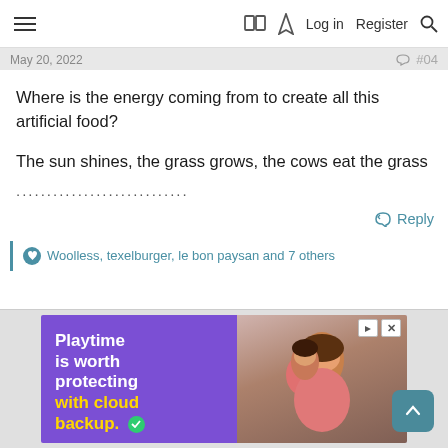Log in | Register
May 20, 2022  #04
Where is the energy coming from to create all this artificial food?
The sun shines, the grass grows, the cows eat the grass
..........................
Reply
Woolless, texelburger, le bon paysan and 7 others
[Figure (screenshot): Advertisement banner: purple background with white bold text 'Playtime is worth protecting with cloud backup.' and a green checkmark, beside a photo of two smiling children playing]